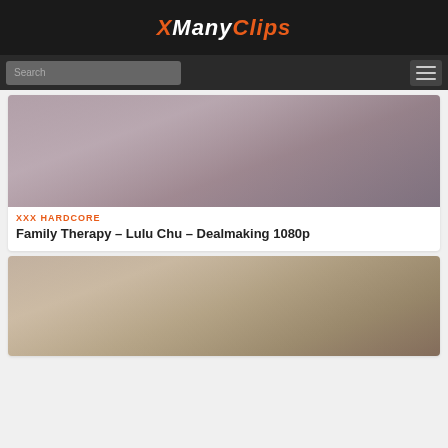XManyClips
[Figure (screenshot): Search bar with text input and hamburger menu button on dark background]
[Figure (photo): Thumbnail image for adult video content - blurred/cropped intimate scene]
XXX HARDCORE
Family Therapy – Lulu Chu – Dealmaking 1080p
[Figure (photo): Thumbnail image showing a young asian woman on a bed]